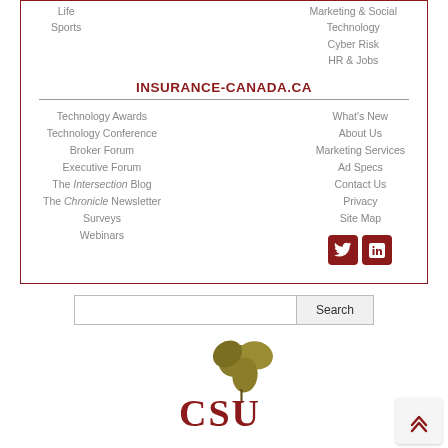Life
Sports
Marketing & Social
Technology
Cyber Risk
HR & Jobs
INSURANCE-CANADA.CA
Technology Awards
Technology Conference
Broker Forum
Executive Forum
The Intersection Blog
The Chronicle Newsletter
Surveys
Webinars
What's New
About Us
Marketing Services
Ad Specs
Contact Us
Privacy
Site Map
[Figure (logo): CSU logo with maple leaf and red letters CSU]
[Figure (other): Back to top double chevron button]